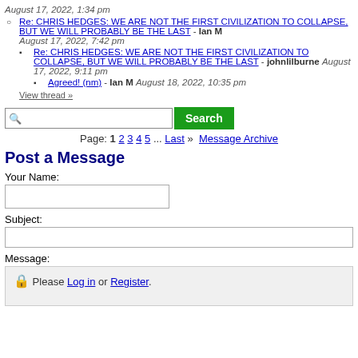August 17, 2022, 1:34 pm
Re: CHRIS HEDGES: WE ARE NOT THE FIRST CIVILIZATION TO COLLAPSE, BUT WE WILL PROBABLY BE THE LAST - Ian M August 17, 2022, 7:42 pm
Re: CHRIS HEDGES: WE ARE NOT THE FIRST CIVILIZATION TO COLLAPSE, BUT WE WILL PROBABLY BE THE LAST - johnlilburne August 17, 2022, 9:11 pm
Agreed! (nm) - Ian M August 18, 2022, 10:35 pm
View thread »
Page: 1 2 3 4 5 ... Last » Message Archive
Post a Message
Your Name:
Subject:
Message:
Please Log in or Register.